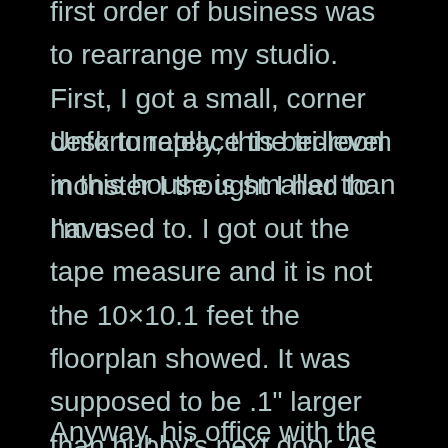first order of business was to rearrange my studio. First, I got a small, corner desk to replace the tri-level monster I thought I had to have.
Unfortunately, this bedroom in this house is smaller than I'm used to. I got out the tape measure and it is not the 10×10.1 feet the floorplan showed. It was supposed to be .1" larger than hubby's next door. As it turns out, his is larger so we switched rooms. I left him the large desk because smaller spaces don't bother him the way they do me.
Anyway, his office with the large desk looks so